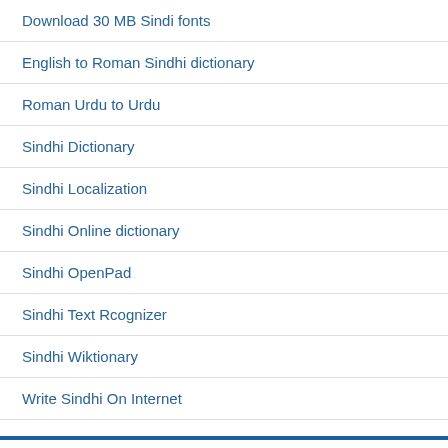Download 30 MB Sindi fonts
English to Roman Sindhi dictionary
Roman Urdu to Urdu
Sindhi Dictionary
Sindhi Localization
Sindhi Online dictionary
Sindhi OpenPad
Sindhi Text Rcognizer
Sindhi Wiktionary
Write Sindhi On Internet